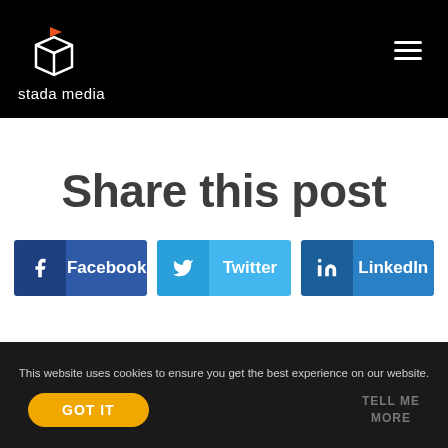[Figure (logo): Stada Media logo: white cube/box outline with orange flag on top, with text 'stada media' below]
Share this post
[Figure (infographic): Three social share buttons: Facebook (dark blue), Twitter (light blue), LinkedIn (medium blue)]
This website uses cookies to ensure you get the best experience on our website.
GOT IT
TELL ME MORE